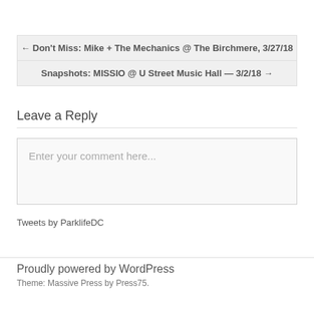← Don't Miss: Mike + The Mechanics @ The Birchmere, 3/27/18
Snapshots: MISSIO @ U Street Music Hall — 3/2/18 →
Leave a Reply
Enter your comment here...
Tweets by ParklifeDC
Proudly powered by WordPress
Theme: Massive Press by Press75.